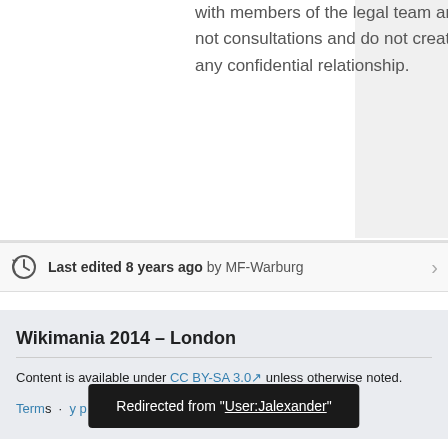with members of the legal team are not consultations and do not create any confidential relationship.
Last edited 8 years ago by MF-Warburg
Wikimania 2014 – London
Content is available under CC BY-SA 3.0 unless otherwise noted.
Terms · Privacy policy · p
Redirected from "User:Jalexander"